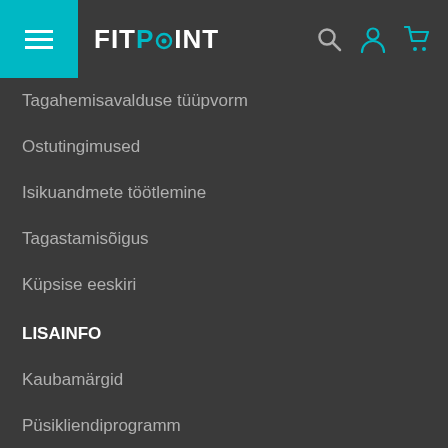FITPOINT
Tagahemisavalduse tüüpvorm
Ostutingimused
Isikuandmete töötlemine
Tagastamisõigus
Küpsise eeskiri
LISAINFO
Kaubamärgid
Püsikliendiprogramm
Eripakkumised
Artiklid
Sisukaart
Kaupluse tagasiside
MINU KONTO
Sisse/Registreeru